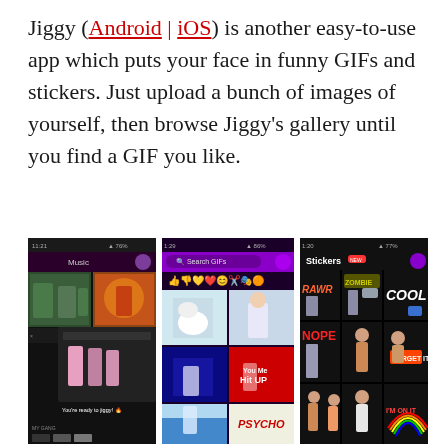Jiggy (Android | iOS) is another easy-to-use app which puts your face in funny GIFs and stickers. Just upload a bunch of images of yourself, then browse Jiggy's gallery until you find a GIF you like.
[Figure (screenshot): Three smartphone screenshots of the Jiggy app showing GIF gallery, search GIFs interface, and Stickers section with various animated sticker templates featuring a woman dancing in different scenes and text overlays like RAWR, COOL, NOPE, PSYCHO, I'M ON IT]